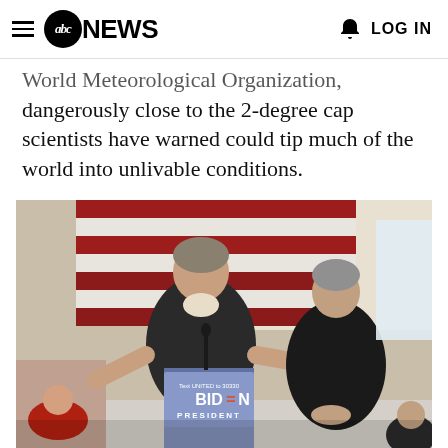abc NEWS  LOG IN
World Meteorological Organization, dangerously close to the 2-degree cap scientists have warned could tip much of the world into unlivable conditions.
[Figure (photo): John Kerry speaking at a podium with a 'Biden President' sign, with Joe Biden standing behind him. An American flag is visible in the background.]